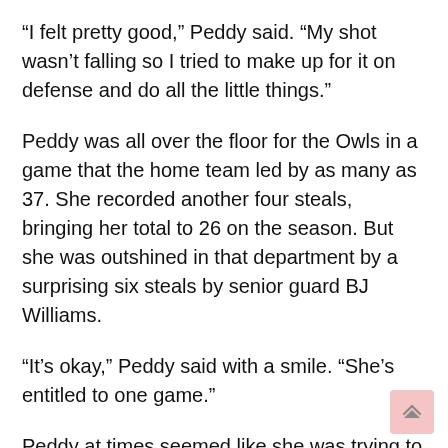“I felt pretty good,” Peddy said. “My shot wasn’t falling so I tried to make up for it on defense and do all the little things.”
Peddy was all over the floor for the Owls in a game that the home team led by as many as 37. She recorded another four steals, bringing her total to 26 on the season. But she was outshined in that department by a surprising six steals by senior guard BJ Williams.
“It’s okay,” Peddy said with a smile. “She’s entitled to one game.”
Peddy at times seemed like she was trying to play center, recording multiple rebounds under the basket in traffic. She finished the game with a season-high seven rebounds, two behind junior center Victoria Macaulay on